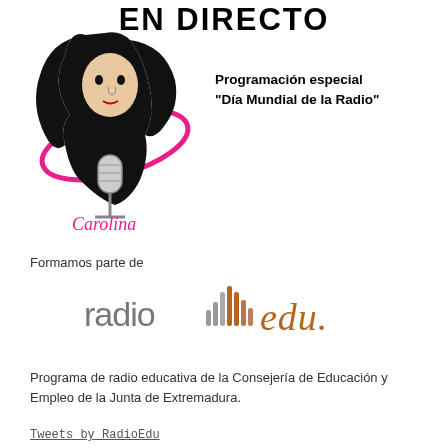EN DIRECTO
[Figure (illustration): Black and white illustration of a woman with dark hair holding a microphone, surrounded by a pink oval/halo shape, with cursive text 'Carolina' below]
Programación especial
"Día Mundial de la Radio"
Formamos parte de
[Figure (logo): RadioEdu logo: the word 'radio' in gray lowercase followed by vertical sound wave bars in gray/orange gradient, then 'edu' in orange cursive/handwritten style]
Programa de radio educativa de la Consejería de Educación y Empleo de la Junta de Extremadura.
Tweets by RadioEdu